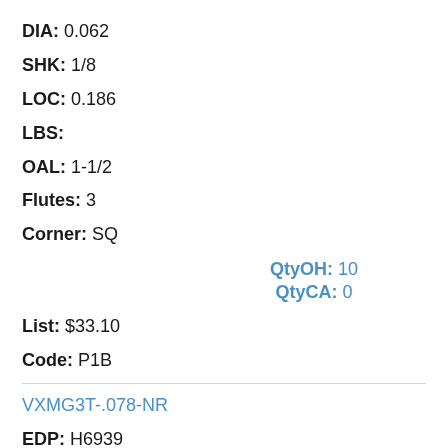DIA: 0.062
SHK: 1/8
LOC: 0.186
LBS:
OAL: 1-1/2
Flutes: 3
Corner: SQ
QtyOH: 10
QtyCA: 0
List: $33.10
Code: P1B
VXMG3T-.078-NR
EDP: H6939